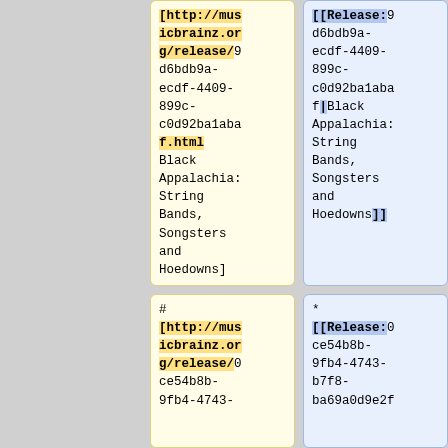[http://musicbrainz.org/release/9d6bdb9a-ecdf-4409-899c-c0d92ba1abaf.html Black Appalachia: String Bands, Songsters and Hoedowns]
[[Release:9d6bdb9a-ecdf-4409-899c-c0d92ba1abaf|Black Appalachia: String Bands, Songsters and Hoedowns]]
# [http://musicbrainz.org/release/0ce54b8b-9fb4-4743-
* [[Release:0ce54b8b-9fb4-4743-b7f8-ba69a0d9e2f